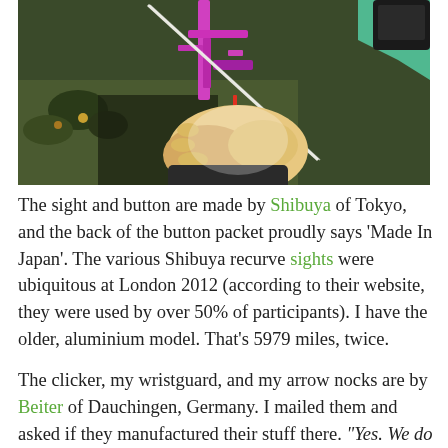[Figure (photo): Close-up photo of a hand holding an archery bow with a pink/purple Shibuya sight and clicker mechanism, with an arrow nocked. Outdoor setting with green table visible in corner.]
The sight and button are made by Shibuya of Tokyo, and the back of the button packet proudly says 'Made In Japan'. The various Shibuya recurve sights were ubiquitous at London 2012 (according to their website, they were used by over 50% of participants). I have the older, aluminium model. That's 5979 miles, twice.
The clicker, my wristguard, and my arrow nocks are by Beiter of Dauchingen, Germany. I mailed them and asked if they manufactured their stuff there. "Yes. We do not